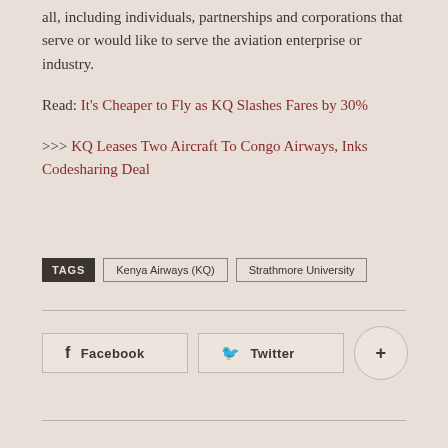all, including individuals, partnerships and corporations that serve or would like to serve the aviation enterprise or industry.
Read: It's Cheaper to Fly as KQ Slashes Fares by 30%
>>> KQ Leases Two Aircraft To Congo Airways, Inks Codesharing Deal
TAGS  Kenya Airways (KQ)  Strathmore University
[Figure (other): Social sharing buttons: Facebook, Twitter, and a plus/more button]